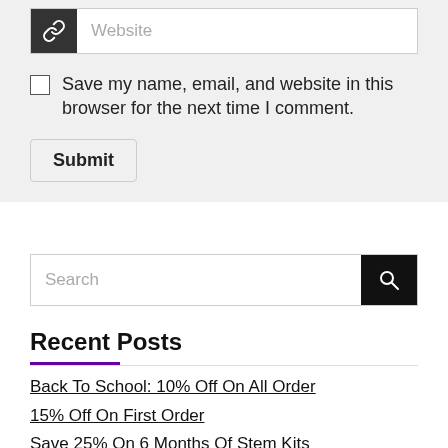Website
Save my name, email, and website in this browser for the next time I comment.
Submit
Search
Recent Posts
Back To School: 10% Off On All Order
15% Off On First Order
Save 25% On 6 Months Of Stem Kits